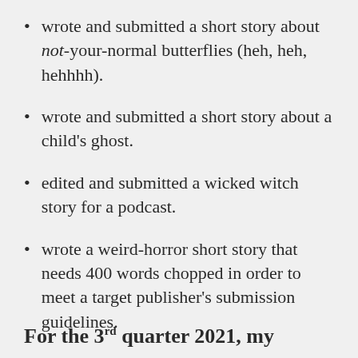wrote and submitted a short story about not-your-normal butterflies (heh, heh, hehhhh).
wrote and submitted a short story about a child's ghost.
edited and submitted a wicked witch story for a podcast.
wrote a weird-horror short story that needs 400 words chopped in order to meet a target publisher's submission guidelines.
For the 3rd quarter 2021, my